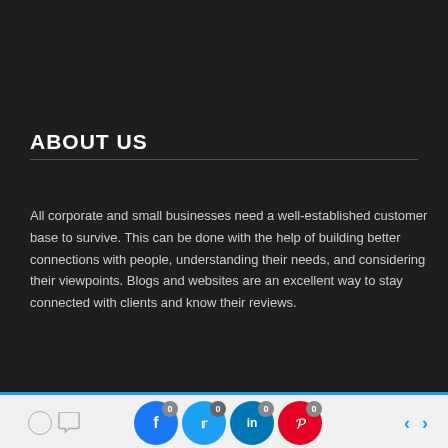ABOUT US
All corporate and small businesses need a well-established customer base to survive. This can be done with the help of building better connections with people, understanding their needs, and considering their viewpoints. Blogs and websites are an excellent way to stay connected with clients and know their reviews.
Email
SUBSCRIBE
0  0  0  < >